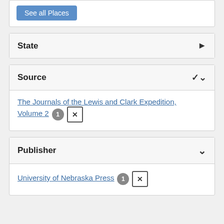See all Places
State
Source
The Journals of the Lewis and Clark Expedition, Volume 2  1  ×
Publisher
University of Nebraska Press  1  ×